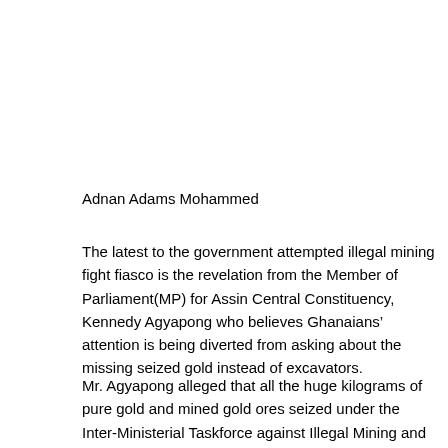Adnan Adams Mohammed
The latest to the government attempted illegal mining fight fiasco is the revelation from the Member of Parliament(MP) for Assin Central Constituency, Kennedy Agyapong who believes Ghanaians’ attention is being diverted from asking about the missing seized gold instead of excavators.
Mr. Agyapong alleged that all the huge kilograms of pure gold and mined gold ores seized under the Inter-Ministerial Taskforce against Illegal Mining and Operation Vanguard which is a Military Police Joint Task Force (JTF) set up by the President of Ghana in 2017 to combat the operation of galamsey in Ghana are